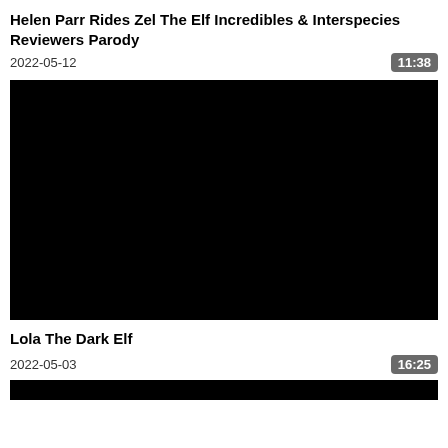Helen Parr Rides Zel The Elf Incredibles & Interspecies Reviewers Parody
2022-05-12
[Figure (screenshot): Black video thumbnail placeholder]
Lola The Dark Elf
2022-05-03